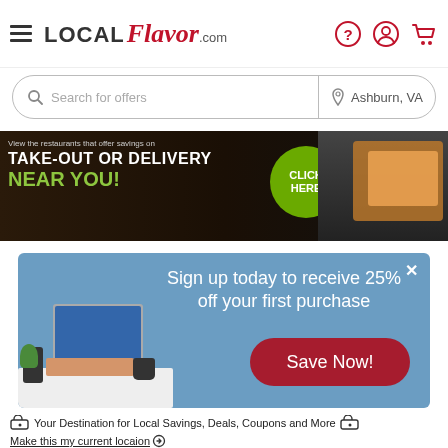LOCAL Flavor.com
[Figure (screenshot): Search bar with 'Search for offers' placeholder and location 'Ashburn, VA']
[Figure (infographic): Banner ad: 'View the restaurants that offer savings on TAKE-OUT OR DELIVERY NEAR YOU! CLICK HERE' with food image]
[Figure (infographic): Sign up popup: 'Sign up today to receive 25% off your first purchase' with laptop image and 'Save Now!' button]
Your Destination for Local Savings, Deals, Coupons and More
Make this my current locaion